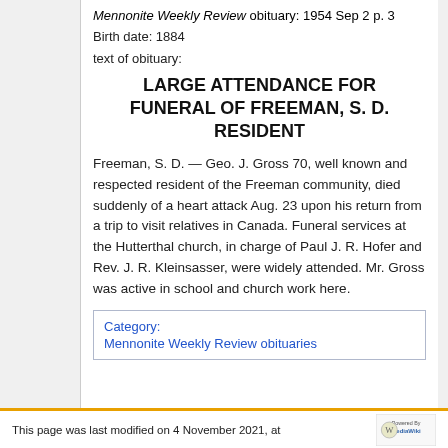Mennonite Weekly Review obituary: 1954 Sep 2 p. 3
Birth date: 1884
text of obituary:
LARGE ATTENDANCE FOR FUNERAL OF FREEMAN, S. D. RESIDENT
Freeman, S. D. — Geo. J. Gross 70, well known and respected resident of the Freeman community, died suddenly of a heart attack Aug. 23 upon his return from a trip to visit relatives in Canada. Funeral services at the Hutterthal church, in charge of Paul J. R. Hofer and Rev. J. R. Kleinsasser, were widely attended. Mr. Gross was active in school and church work here.
Category:
Mennonite Weekly Review obituaries
This page was last modified on 4 November 2021, at